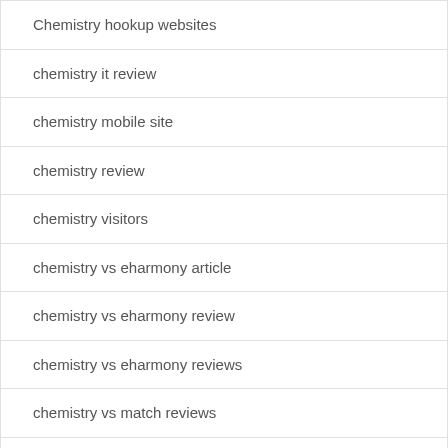Chemistry hookup websites
chemistry it review
chemistry mobile site
chemistry review
chemistry visitors
chemistry vs eharmony article
chemistry vs eharmony review
chemistry vs eharmony reviews
chemistry vs match reviews
chemistry-inceleme arama